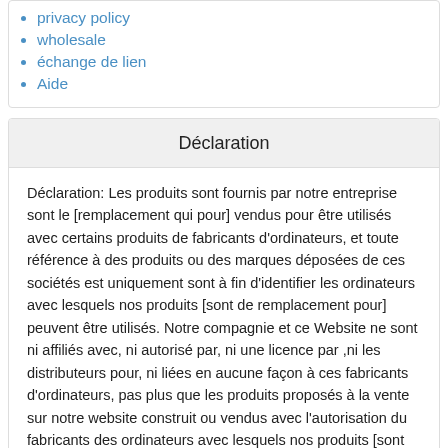privacy policy
wholesale
échange de lien
Aide
Déclaration
Déclaration: Les produits sont fournis par notre entreprise sont le [remplacement qui pour] vendus pour être utilisés avec certains produits de fabricants d'ordinateurs, et toute référence à des produits ou des marques déposées de ces sociétés est uniquement sont à fin d'identifier les ordinateurs avec lesquels nos produits [sont de remplacement pour] peuvent être utilisés. Notre compagnie et ce Website ne sont ni affiliés avec, ni autorisé par, ni une licence par ,ni les distributeurs pour, ni liées en aucune façon à ces fabricants d'ordinateurs, pas plus que les produits proposés à la vente sur notre website construit ou vendus avec l'autorisation du fabricants des ordinateurs avec lesquels nos produits [sont de remplacement pour] peuvent être utilisés.